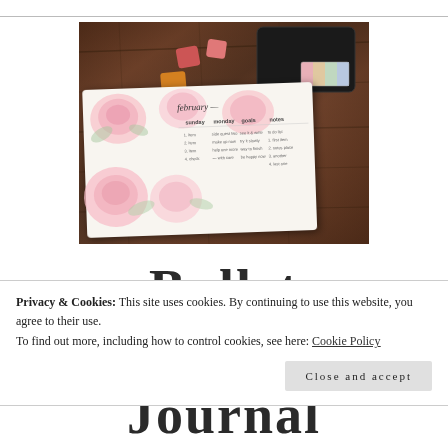[Figure (photo): Overhead photo of a bullet journal open to a February spread with pink rose watercolor paintings, shown on a dark wooden table alongside a black ink pad and small colorful stamp cubes]
Bullet
Privacy & Cookies: This site uses cookies. By continuing to use this website, you agree to their use.
To find out more, including how to control cookies, see here: Cookie Policy
Close and accept
Journal